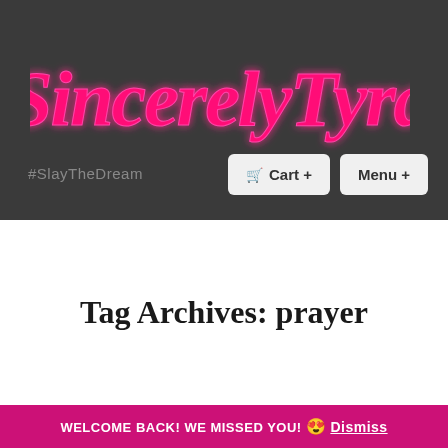[Figure (logo): SincerelyTyra cursive logo in hot pink with glow effect on dark gray background]
#SlayTheDream
🛒 Cart +
Menu +
Tag Archives: prayer
WELCOME BACK! WE MISSED YOU! 😍 Dismiss